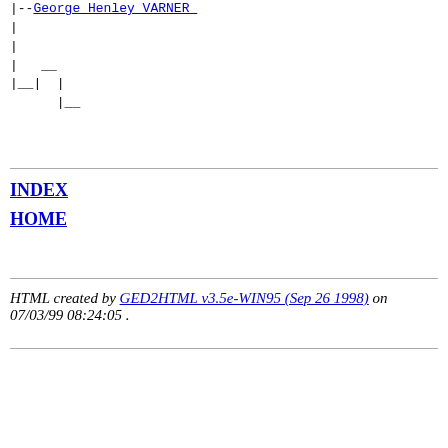|--George Henley VARNER
|
|
|  __
|__|  |
      |__
INDEX
HOME
HTML created by GED2HTML v3.5e-WIN95 (Sep 26 1998) on 07/03/99 08:24:05 .